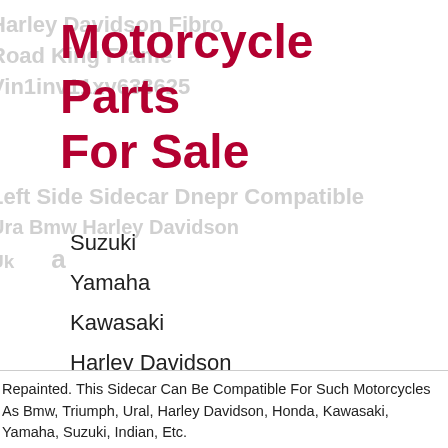Motorcycle Parts For Sale
Suzuki
Yamaha
Kawasaki
Harley Davidson
Harley
Vintage
Repainted. This Sidecar Can Be Compatible For Such Motorcycles As Bmw, Triumph, Ural, Harley Davidson, Honda, Kawasaki, Yamaha, Suzuki, Indian, Etc.